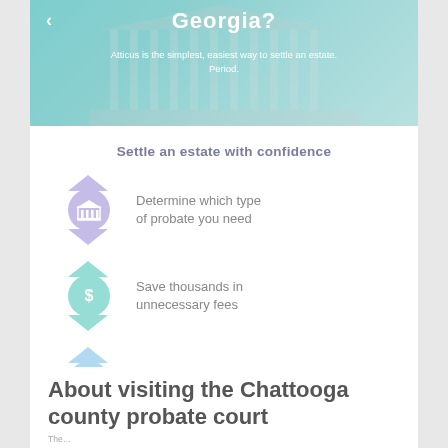[Figure (screenshot): Banner image showing a courthouse/government building with teal overlay, title text 'Georgia?' and subtitle 'Atticus is the simplest, easiest way to settle an estate. Period.']
Settle an estate with confidence
Determine which type of probate you need
Save thousands in unnecessary fees
Access local and state-required probate forms
About visiting the Chattooga county probate court
The…